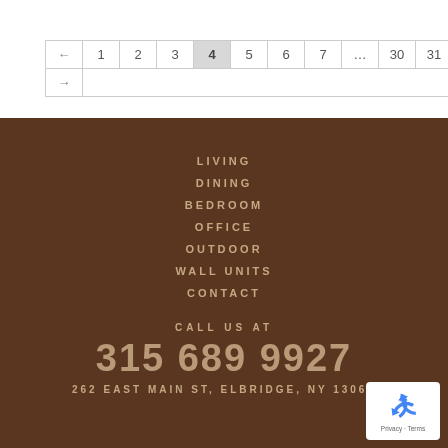| ← | 1 | 2 | 3 | 4 | 5 | 6 | 7 | ... | 30 | 31 | 32 |
| --- | --- | --- | --- | --- | --- | --- | --- | --- | --- | --- | --- |
| → |  |  |  |  |  |  |  |  |  |  |  |
LIVING
DINING
BEDROOM
OFFICE
OUTDOOR
WALL UNITS
CONTACT
CALL US AT
315 689 9927
262 EAST MAIN ST, ELBRIDGE, NY 13060
[Figure (logo): Google reCAPTCHA badge with recycling arrows icon and Privacy - Terms text]